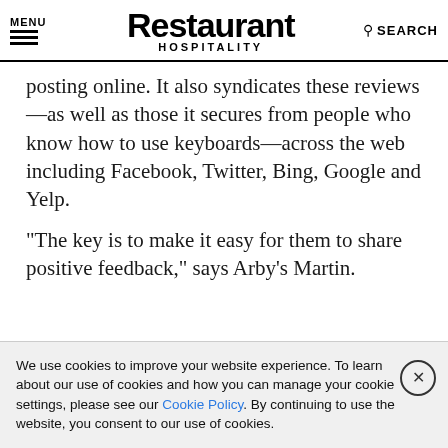MENU | Restaurant HOSPITALITY | SEARCH
posting online. It also syndicates these reviews—as well as those it secures from people who know how to use keyboards—across the web including Facebook, Twitter, Bing, Google and Yelp.
"The key is to make it easy for them to share positive feedback," says Arby's Martin.
One of the great byproducts of having an active reviews domain on your website is that search engines like Google will
We use cookies to improve your website experience. To learn about our use of cookies and how you can manage your cookie settings, please see our Cookie Policy. By continuing to use the website, you consent to our use of cookies.